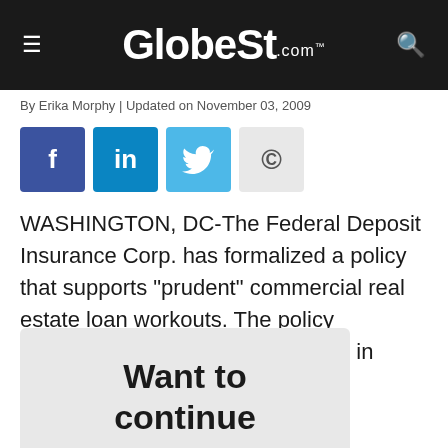GlobeSt.com
By Erika Morphy | Updated on November 03, 2009
[Figure (infographic): Social sharing buttons: Facebook (f), LinkedIn (in), Twitter (bird icon), Copyright symbol]
WASHINGTON, DC-The Federal Deposit Insurance Corp. has formalized a policy that supports “prudent” commercial real estate loan workouts. The policy statement, which FDIC developed in coordination with
Want to continue